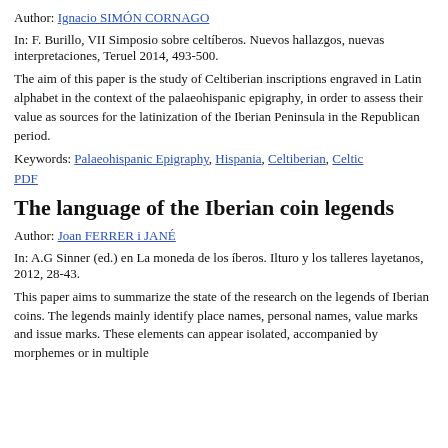Author: Ignacio SIMÓN CORNAGO
In: F. Burillo, VII Simposio sobre celtíberos. Nuevos hallazgos, nuevas interpretaciones, Teruel 2014, 493-500.
The aim of this paper is the study of Celtiberian inscriptions engraved in Latin alphabet in the context of the palaeohispanic epigraphy, in order to assess their value as sources for the latinization of the Iberian Peninsula in the Republican period.
Keywords: Palaeohispanic Epigraphy, Hispania, Celtiberian, Celtic
PDF
The language of the Iberian coin legends
Author: Joan FERRER i JANÉ
In: A.G Sinner (ed.) en La moneda de los íberos. Ilturo y los talleres layetanos, 2012, 28-43.
This paper aims to summarize the state of the research on the legends of Iberian coins. The legends mainly identify place names, personal names, value marks and issue marks. These elements can appear isolated, accompanied by morphemes or in multiple